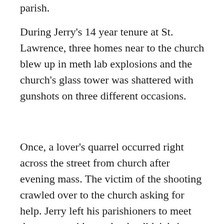parish.
During Jerry's 14 year tenure at St. Lawrence, three homes near to the church blew up in meth lab explosions and the church's glass tower was shattered with gunshots on three different occasions.
Once, a lover's quarrel occurred right across the street from church after evening mass. The victim of the shooting crawled over to the church asking for help. Jerry left his parishioners to meet the man outside  so that he didn't bring the crossfire to the congregation.  Two parishioners — Mary, a nurse and Carol, a PE teacher — came with Jerry to help the man before an ambulance